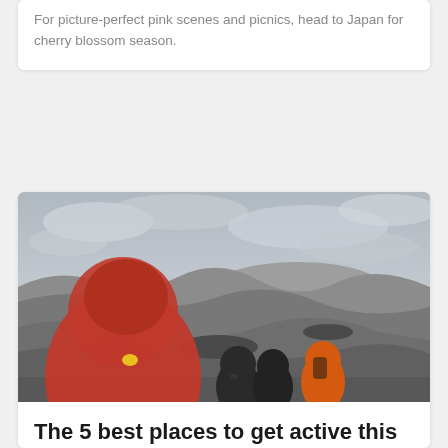For picture-perfect pink scenes and picnics, head to Japan for cherry blossom season.
[Figure (photo): Three people in colorful winter jackets (red, black, orange) viewed from behind, standing on a rocky glacier landscape under a grey cloudy sky. The scene is mostly desaturated except for the red and orange jackets.]
The 5 best places to get active this winter